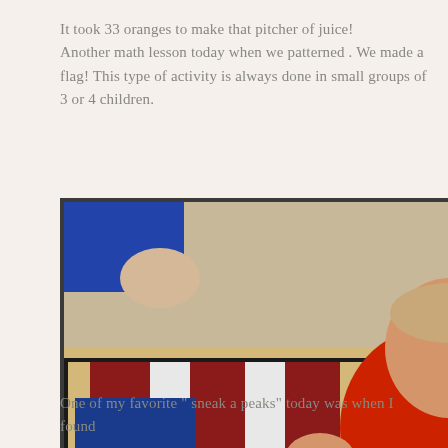It took 33 oranges to make that pitcher of juice! Another math lesson today when we patterned. We made a flag! This type of activity is always done in small groups of 3 or 4 children.
[Figure (photo): Two photos of young children working on a flag-making craft activity at a table. Top photo shows a boy in a red shirt arranging red, white, and blue paper strips. Bottom photo shows two children, one in a dark jacket and one in a blue shirt with glasses, assembling a flag pattern.]
One of my favorite “ sneak a peaks” today was when I found